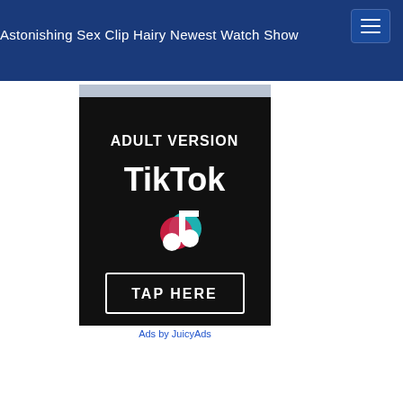Astonishing Sex Clip Hairy Newest Watch Show
[Figure (advertisement): Adult version TikTok advertisement banner with black background, TikTok logo and TAP HERE button]
Ads by JuicyAds